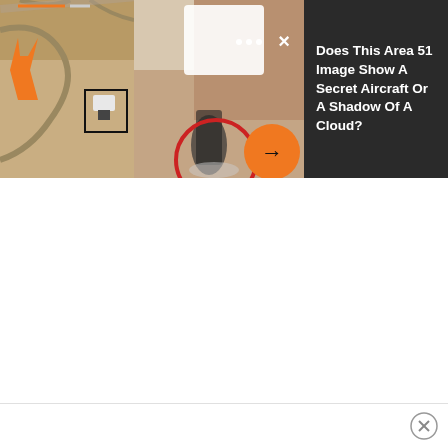[Figure (screenshot): Satellite aerial view of Area 51 with zoomed inset showing blurry object circled in red with orange arrow button, and dark panel with article title text. Bottom portion is white/blank with an ad close button.]
Does This Area 51 Image Show A Secret Aircraft Or A Shadow Of A Cloud?